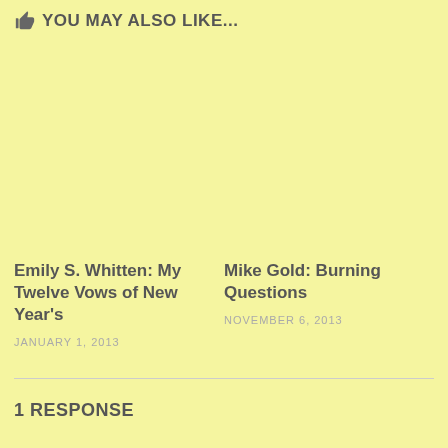YOU MAY ALSO LIKE...
Emily S. Whitten: My Twelve Vows of New Year's
JANUARY 1, 2013
Mike Gold: Burning Questions
NOVEMBER 6, 2013
1 RESPONSE